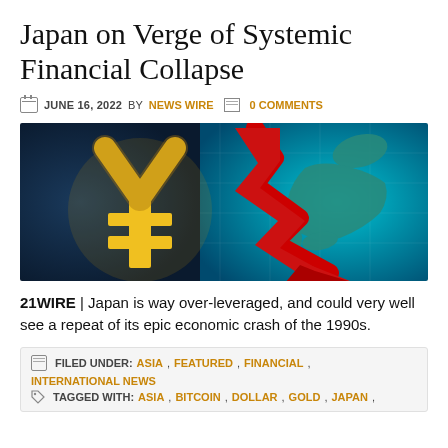Japan on Verge of Systemic Financial Collapse
JUNE 16, 2022 BY NEWS WIRE   0 COMMENTS
[Figure (illustration): Illustration showing a large gold yen symbol on the left against a dark background, a map of Japan in teal/blue in the center-right, and a large red downward-pointing zigzag arrow overlaid on the map, suggesting financial decline.]
21WIRE | Japan is way over-leveraged, and could very well see a repeat of its epic economic crash of the 1990s.
FILED UNDER: ASIA, FEATURED, FINANCIAL, INTERNATIONAL NEWS   TAGGED WITH: ASIA, BITCOIN, DOLLAR, GOLD, JAPAN,